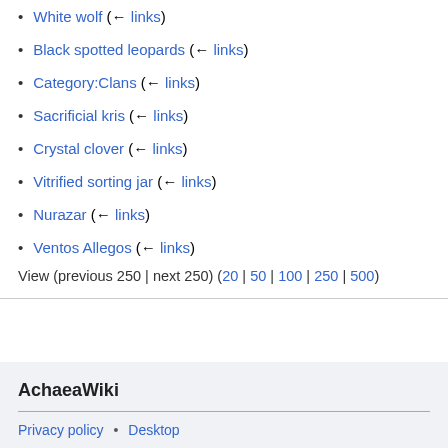White wolf  (← links)
Black spotted leopards  (← links)
Category:Clans  (← links)
Sacrificial kris  (← links)
Crystal clover  (← links)
Vitrified sorting jar  (← links)
Nurazar  (← links)
Ventos Allegos  (← links)
View (previous 250 | next 250) (20 | 50 | 100 | 250 | 500)
AchaeaWiki
Privacy policy • Desktop